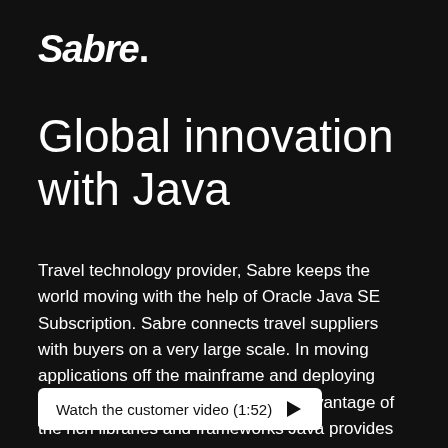[Figure (logo): Sabre logo in bold italic white text on black background]
Global innovation with Java
Travel technology provider, Sabre keeps the world moving with the help of Oracle Java SE Subscription. Sabre connects travel suppliers with buyers on a very large scale. In moving applications off the mainframe and deploying with Java, Sabre was able to take advantage of the rich libraries and frameworks Java provides and focus its efforts on core competencies.
Watch the customer video (1:52)